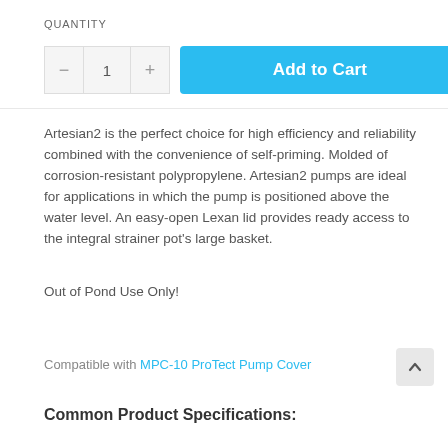QUANTITY
[Figure (screenshot): Quantity selector with minus button, '1', and plus button, followed by a blue 'Add to Cart' button]
Artesian2 is the perfect choice for high efficiency and reliability combined with the convenience of self-priming. Molded of corrosion-resistant polypropylene. Artesian2 pumps are ideal for applications in which the pump is positioned above the water level. An easy-open Lexan lid provides ready access to the integral strainer pot's large basket.
Out of Pond Use Only!
Compatible with MPC-10 ProTect Pump Cover
Common Product Specifications: